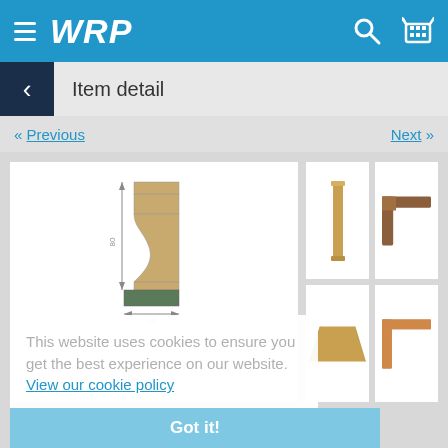WRP
Item detail
« Previous
Next »
[Figure (photo): Technical cross-section drawing of a wooden molding profile with dimensions showing 80mm height and 18mm width]
[Figure (photo): Thumbnail: front view of molding piece (golden/tan color)]
[Figure (photo): Thumbnail: corner join of molding (brown wood color)]
[Figure (photo): Thumbnail: top/back view of molding profile (natural wood)]
[Figure (photo): Thumbnail: corner join of molding (tan/orange color)]
This website uses cookies to ensure you get the best experience on our website. View our cookie policy
Got it!